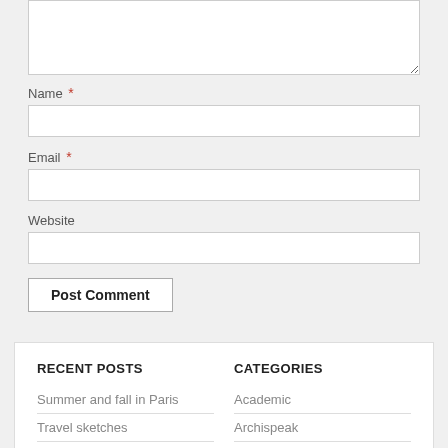Name *
Email *
Website
Post Comment
RECENT POSTS
CATEGORIES
Summer and fall in Paris
Travel sketches
Travel watercolors
UB10 rolls toward completion
Academic
Archispeak
Architecture links
Community Planning